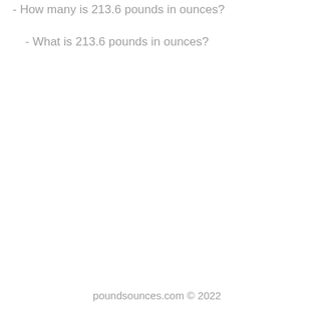- How many is 213.6 pounds in ounces?
- What is 213.6 pounds in ounces?
poundsounces.com © 2022